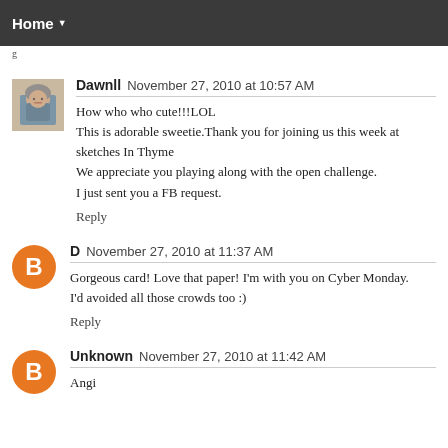Home ▼
Dawnll  November 27, 2010 at 10:57 AM
How who who cute!!!LOL
This is adorable sweetie.Thank you for joining us this week at sketches In Thyme
We appreciate you playing along with the open challenge.
I just sent you a FB request.
Reply
D  November 27, 2010 at 11:37 AM
Gorgeous card! Love that paper! I'm with you on Cyber Monday. I'd avoided all those crowds too :)
Reply
Unknown  November 27, 2010 at 11:42 AM
Angi